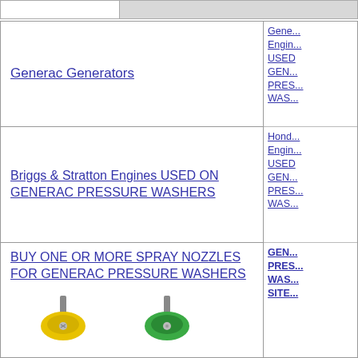|  | thumbnail/image strip |
Generac Generators
Gene... Engin... USED GENE... PRES... WAS...
Briggs & Stratton Engines USED ON GENERAC PRESSURE WASHERS
Hond... Engin... USED GENE... PRES... WAS...
BUY ONE OR MORE SPRAY NOZZLES FOR GENERAC PRESSURE WASHERS
[Figure (photo): Spray nozzles for pressure washers in multiple colors: yellow, green, red, white]
GENE... PRES... WAS... SITE...